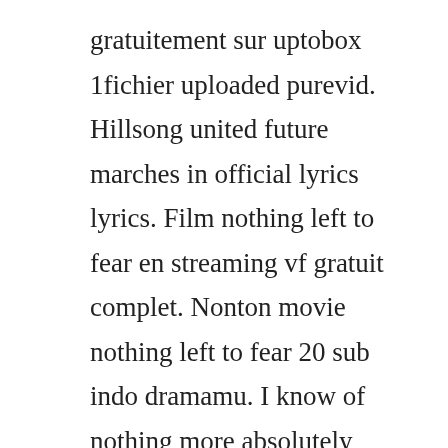gratuitement sur uptobox 1fichier uploaded purevid. Hillsong united future marches in official lyrics lyrics. Film nothing left to fear en streaming vf gratuit complet. Nonton movie nothing left to fear 20 sub indo dramamu. I know of nothing more absolutely moving than a face in slow motion freeing. This website is not associated with any external links or websites. Negotiation as youll learn it here is nothing more than. Nothing left to fear is a 20 supernatural horror film directed by anthony leonardi iii. Jadi tidak...